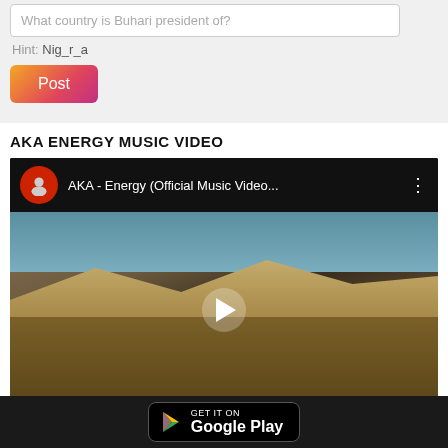What country is Buhari president of?
Hint: Nig_r_a
Post
AKA ENERGY MUSIC VIDEO
[Figure (screenshot): YouTube video embed showing AKA - Energy (Official Music Video...) with a desert landscape thumbnail, play button, vevo logo at bottom, and reCAPTCHA logo]
GET IT ON Google Play